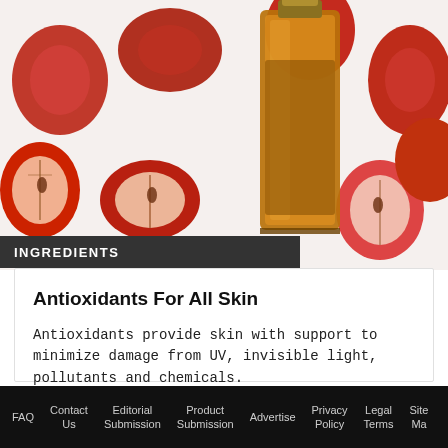[Figure (photo): Overhead flat-lay photo of red rose hip fruits (sliced and whole) scattered on a white background with an amber glass dropper bottle of oil in the center]
INGREDIENTS
Antioxidants For All Skin
Antioxidants provide skin with support to minimize damage from UV, invisible light, pollutants and chemicals.
Jun 1st, 2022
FAQ   Contact Us   Editorial Submission   Product Submission   Advertise   Privacy Policy   Legal Terms   Site Ma...